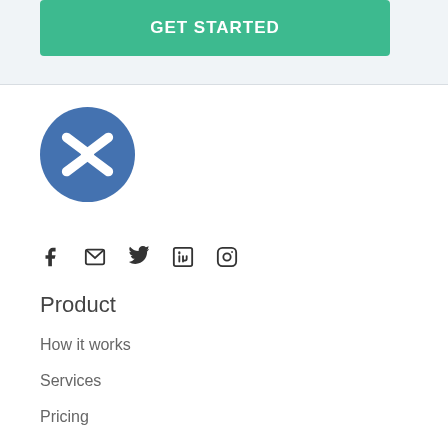GET STARTED
[Figure (logo): Blue circular logo with white double-arrow Z symbol]
[Figure (infographic): Social media icons: Facebook, Email, Twitter, LinkedIn, Instagram]
Product
How it works
Services
Pricing